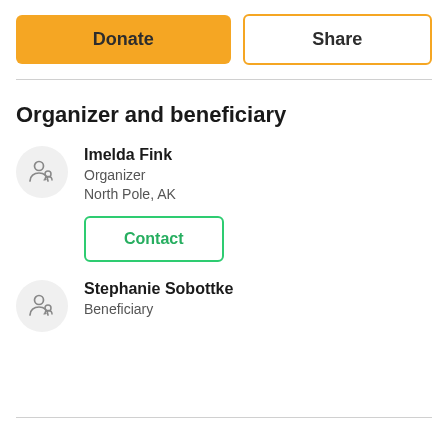Donate
Share
Organizer and beneficiary
Imelda Fink
Organizer
North Pole, AK
Contact
Stephanie Sobottke
Beneficiary